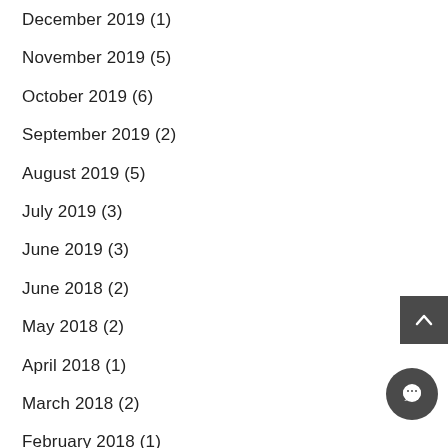December 2019 (1)
November 2019 (5)
October 2019 (6)
September 2019 (2)
August 2019 (5)
July 2019 (3)
June 2019 (3)
June 2018 (2)
May 2018 (2)
April 2018 (1)
March 2018 (2)
February 2018 (1)